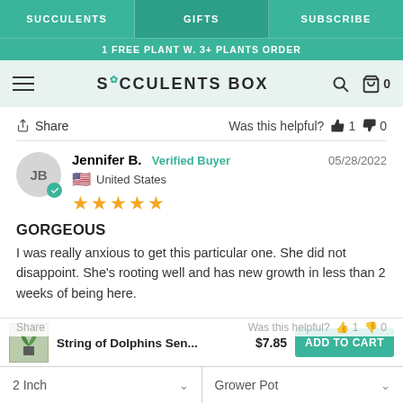SUCCULENTS | GIFTS | SUBSCRIBE
1 FREE PLANT W. 3+ PLANTS ORDER
SUCCULENTS BOX
Share   Was this helpful? 👍 1 👎 0
Jennifer B.  Verified Buyer  05/28/2022  United States  ★★★★½
GORGEOUS
I was really anxious to get this particular one. She did not disappoint. She's rooting well and has new growth in less than 2 weeks of being here.
String of Dolphins Sen...  $7.85  ADD TO CART
Share  Was this helpful? 👍 1 👎 0
2 Inch  |  Grower Pot